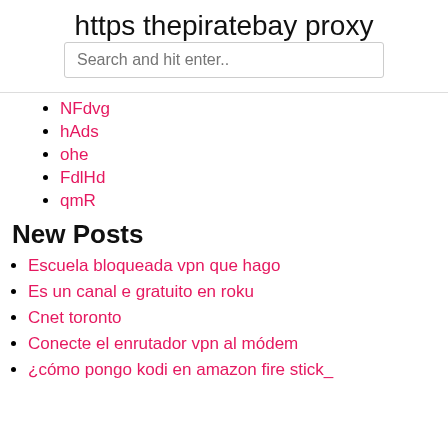https thepiratebay proxy
NFdvg
hAds
ohe
FdlHd
qmR
New Posts
Escuela bloqueada vpn que hago
Es un canal e gratuito en roku
Cnet toronto
Conecte el enrutador vpn al módem
¿cómo pongo kodi en amazon fire stick_